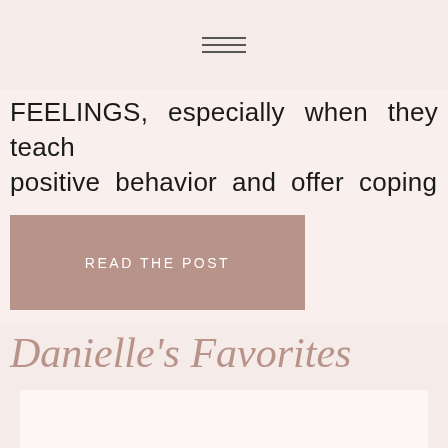FEELINGS, especially when they teach positive behavior and offer coping
READ THE POST
Danielle's Favorites
[Figure (photo): Photo of a person or object partially visible at the bottom of the page within a card section]